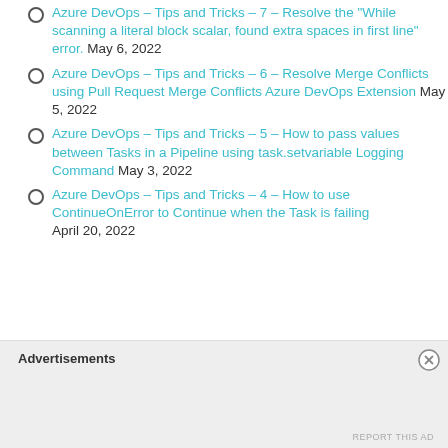Azure DevOps – Tips and Tricks – 7 – Resolve the "While scanning a literal block scalar, found extra spaces in first line" error. May 6, 2022
Azure DevOps – Tips and Tricks – 6 – Resolve Merge Conflicts using Pull Request Merge Conflicts Azure DevOps Extension May 5, 2022
Azure DevOps – Tips and Tricks – 5 – How to pass values between Tasks in a Pipeline using task.setvariable Logging Command May 3, 2022
Azure DevOps – Tips and Tricks – 4 – How to use ContinueOnError to Continue when the Task is failing April 20, 2022
Advertisements